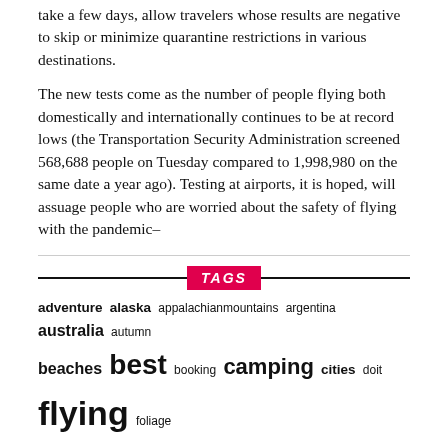take a few days, allow travelers whose results are negative to skip or minimize quarantine restrictions in various destinations.
The new tests come as the number of people flying both domestically and internationally continues to be at record lows (the Transportation Security Administration screened 568,688 people on Tuesday compared to 1,998,980 on the same date a year ago). Testing at airports, it is hoped, will assuage people who are worried about the safety of flying with the pandemic…
TAGS
adventure alaska appalachianmountains argentina australia autumn beaches best booking camping cities doit flying foliage golfing guide hiking househunting how-to internet keywest lasvegas luggage Mujeres myths newengland pandemic patagonia poland reasons reflection restart review roadtrip sanjuanislands